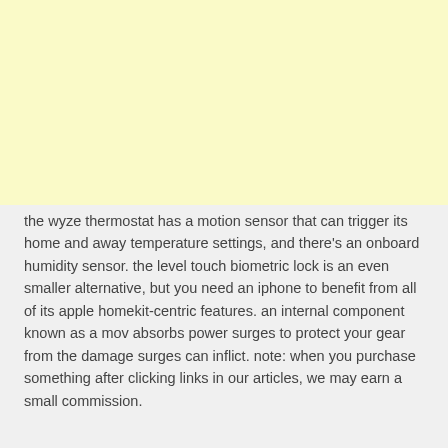[Figure (other): Light yellow banner/advertisement block at the top of the page]
the wyze thermostat has a motion sensor that can trigger its home and away temperature settings, and there's an onboard humidity sensor. the level touch biometric lock is an even smaller alternative, but you need an iphone to benefit from all of its apple homekit-centric features. an internal component known as a mov absorbs power surges to protect your gear from the damage surges can inflict. note: when you purchase something after clicking links in our articles, we may earn a small commission.